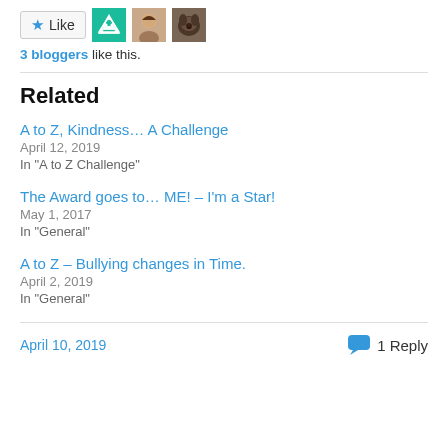[Figure (other): Like button with star icon and three blogger avatars]
3 bloggers like this.
Related
A to Z, Kindness… A Challenge
April 12, 2019
In "A to Z Challenge"
The Award goes to… ME! – I'm a Star!
May 1, 2017
In "General"
A to Z – Bullying changes in Time.
April 2, 2019
In "General"
April 10, 2019   1 Reply